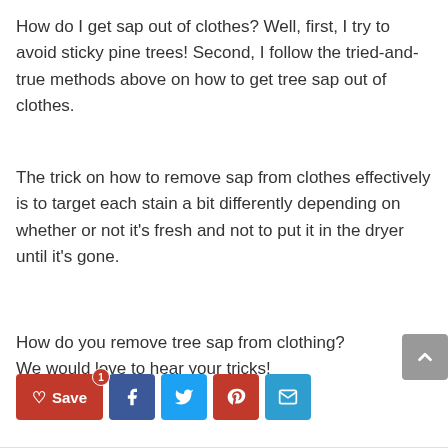How do I get sap out of clothes? Well, first, I try to avoid sticky pine trees! Second, I follow the tried-and-true methods above on how to get tree sap out of clothes.
The trick on how to remove sap from clothes effectively is to target each stain a bit differently depending on whether or not it’s fresh and not to put it in the dryer until it’s gone.
How do you remove tree sap from clothing? We would love to hear your tricks!